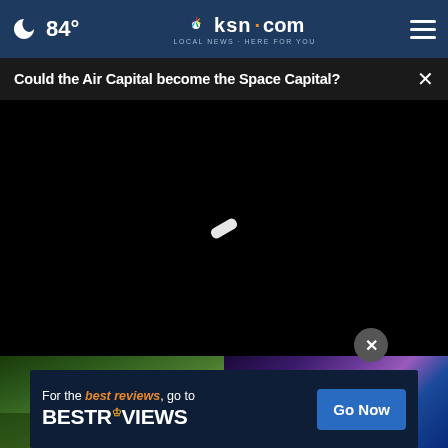84° ksn.com LOCAL NEWS · HERE FOR YOU
Could the Air Capital become the Space Capital?
[Figure (screenshot): Black video player area with loading spinner in the center]
[Figure (photo): Bottom image strip showing two photos side by side: left photo with green foliage and yellow flowers, right photo with purple and blue tones]
For the best reviews, go to BESTREVIEWS Go Now